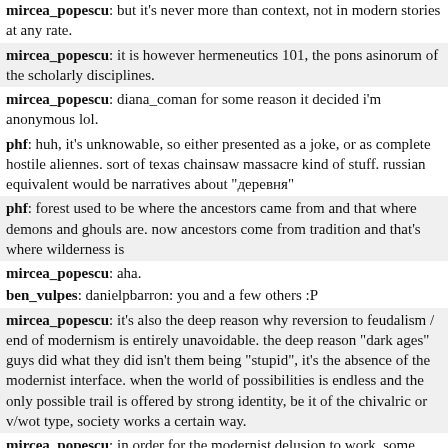mircea_popescu: but it's never more than context, not in modern stories at any rate.
mircea_popescu: it is however hermeneutics 101, the pons asinorum of the scholarly disciplines.
mircea_popescu: diana_coman for some reason it decided i'm anonymous lol.
phf: huh, it's unknowable, so either presented as a joke, or as complete hostile aliennes. sort of texas chainsaw massacre kind of stuff. russian equivalent would be narratives about "деревня"
phf: forest used to be where the ancestors came from and that where demons and ghouls are. now ancestors come from tradition and that's where wilderness is
mircea_popescu: aha.
ben_vulpes: danielpbarron: you and a few others :P
mircea_popescu: it's also the deep reason why reversion to feudalism / end of modernism is entirely unavoidable. the deep reason "dark ages" guys did what they did isn't them being "stupid", it's the absence of the modernist interface. when the world of possibilities is endless and the only possible trail is offered by strong identity, be it of the chivalric or v/wot type, society works a certain way.
mircea_popescu: in order for the modernist delusion to work, some equivalence clases are prerequisite, which is why all modern states are socialisms. if differences matter, "modern democracy" is impossible.
asciilifeform: https://support.circle.com/hc/en...